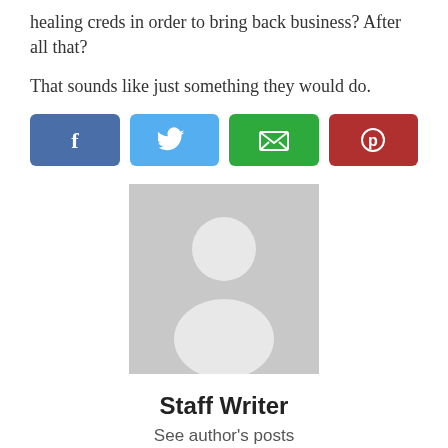healing creds in order to bring back business? After all that?
That sounds like just something they would do.
[Figure (other): Social share buttons: Facebook (dark blue), Twitter (light blue), Email (green), Pinterest (red)]
[Figure (photo): Default avatar placeholder: grey background with white silhouette of a person]
Staff Writer
See author's posts